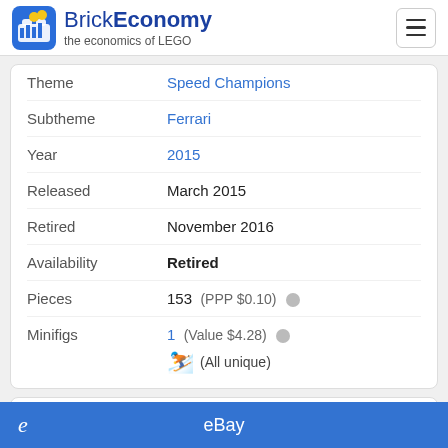BrickEconomy — the economics of LEGO
| Property | Value |
| --- | --- |
| Theme | Speed Champions |
| Subtheme | Ferrari |
| Year | 2015 |
| Released | March 2015 |
| Retired | November 2016 |
| Availability | Retired |
| Pieces | 153  (PPP $0.10) |
| Minifigs | 1  (Value $4.28)  (All unique) |
Set Pricing
Good Investment
eBay